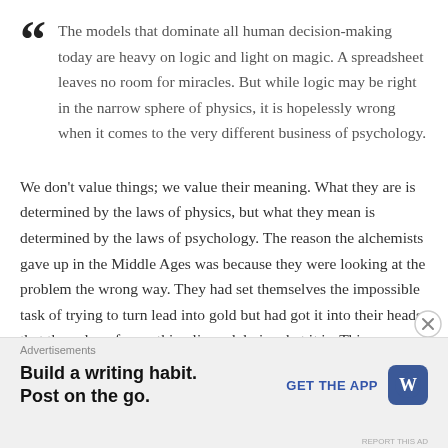The models that dominate all human decision-making today are heavy on logic and light on magic. A spreadsheet leaves no room for miracles. But while logic may be right in the narrow sphere of physics, it is hopelessly wrong when it comes to the very different business of psychology.
We don't value things; we value their meaning. What they are is determined by the laws of physics, but what they mean is determined by the laws of psychology. The reason the alchemists gave up in the Middle Ages was because they were looking at the problem the wrong way. They had set themselves the impossible task of trying to turn lead into gold but had got it into their heads that the value of something lies solely in what it is. This was a false assumption, because you don't need to tinker with atomic structure to make lead as
Advertisements
Build a writing habit. Post on the go.